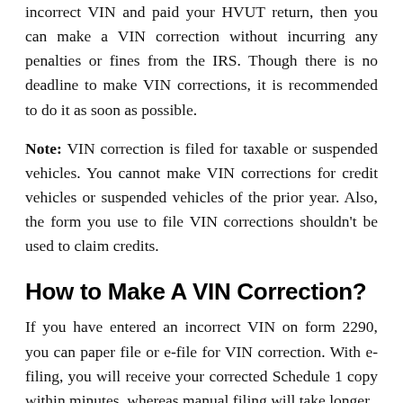incorrect VIN and paid your HVUT return, then you can make a VIN correction without incurring any penalties or fines from the IRS. Though there is no deadline to make VIN corrections, it is recommended to do it as soon as possible.
Note: VIN correction is filed for taxable or suspended vehicles. You cannot make VIN corrections for credit vehicles or suspended vehicles of the prior year. Also, the form you use to file VIN corrections shouldn't be used to claim credits.
How to Make A VIN Correction?
If you have entered an incorrect VIN on form 2290, you can paper file or e-file for VIN correction. With e-filing, you will receive your corrected Schedule 1 copy within minutes, whereas manual filing will take longer.